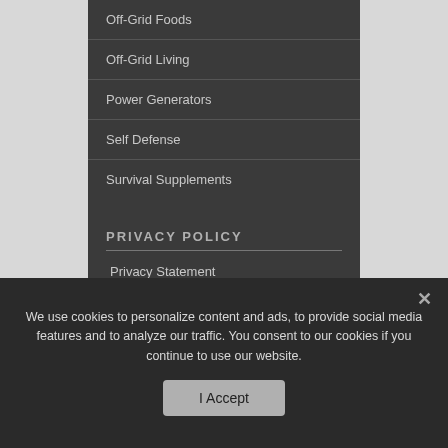Off-Grid Foods
Off-Grid Living
Power Generators
Self Defense
Survival Supplements
PRIVACY POLICY
Privacy Statement
ABOUT US
'Off The Grid News' is an independent, weekly email newsletter and website that
We use cookies to personalize content and ads, to provide social media features and to analyze our traffic. You consent to our cookies if you continue to use our website.